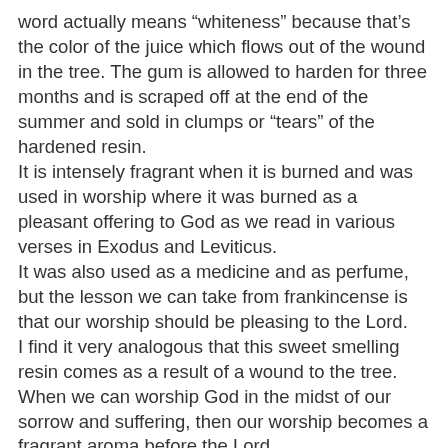word actually means “whiteness” because that’s the color of the juice which flows out of the wound in the tree. The gum is allowed to harden for three months and is scraped off at the end of the summer and sold in clumps or “tears” of the hardened resin.
It is intensely fragrant when it is burned and was used in worship where it was burned as a pleasant offering to God as we read in various verses in Exodus and Leviticus.
It was also used as a medicine and as perfume, but the lesson we can take from frankincense is that our worship should be pleasing to the Lord.
I find it very analogous that this sweet smelling resin comes as a result of a wound to the tree. When we can worship God in the midst of our sorrow and suffering, then our worship becomes a fragrant aroma before the Lord.
While joyful worship is also pleasing to God, our tears, like frankincense resin, oozing out of our hurts and broken hearts, and especially our tears of repentance, are a sweet-smelling sacrifice to the Lord.
Anyone can dance and sing when they are happy and everything is going their way, but true worship takes place when we must overcome feelings of disappointment, doubt